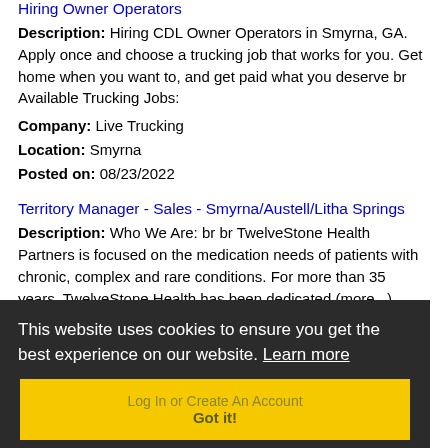Hiring Owner Operators
Description: Hiring CDL Owner Operators in Smyrna, GA. Apply once and choose a trucking job that works for you. Get home when you want to, and get paid what you deserve br Available Trucking Jobs:
Company: Live Trucking
Location: Smyrna
Posted on: 08/23/2022
Territory Manager - Sales - Smyrna/Austell/Litha Springs
Description: Who We Are: br br TwelveStone Health Partners is focused on the medication needs of patients with chronic, complex and rare conditions. For more than 35 years, TwelveStone Health has been dedicated (more...)
Company: TwelveStone Health Partners
Location: Smyrna
Posted on:
Loading more jobs.
This website uses cookies to ensure you get the best experience on our website. Learn more
Log In or Create An Account
Got it!
Username: